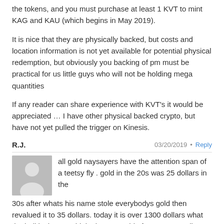the tokens, and you must purchase at least 1 KVT to mint KAG and KAU (which begins in May 2019).
It is nice that they are physically backed, but costs and location information is not yet available for potential physical redemption, but obviously you backing of pm must be practical for us little guys who will not be holding mega quantities
If any reader can share experience with KVT's it would be appreciated … I have other physical backed crypto, but have not yet pulled the trigger on Kinesis.
R.J.   03/20/2019 • Reply
all gold naysayers have the attention span of a teetsy fly . gold in the 20s was 25 dollars in the 30s after whats his name stole everybodys gold then revalued it to 35 dollars. today it is over 1300 dollars what the hell is there to think about. get rid of your paper toilet paper take the gold and silver and run